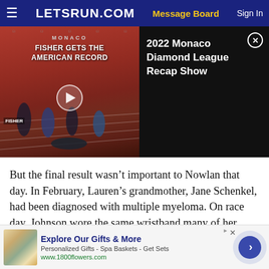LETSRUN.COM | Message Board | Sign In
[Figure (screenshot): Video thumbnail showing track race with text 'MONACO FISHER GETS THE AMERICAN RECORD' and play button overlay]
2022 Monaco Diamond League Recap Show
But the final result wasn’t important to Nowlan that day. In February, Lauren’s grandmother, Jane Schenkel, had been diagnosed with multiple myeloma. On race day, Johnson wore the same wristband many of her family members sported back home in Huntington, inscribed with the words “No one fights alone,” in Schenkel’s honor. Then in May, Johnson’s cousin, Rebekah Chapel,
[Figure (infographic): Advertisement banner for 1800flowers.com: Explore Our Gifts & More. Personalized Gifts - Spa Baskets - Get Sets. www.1800flowers.com]